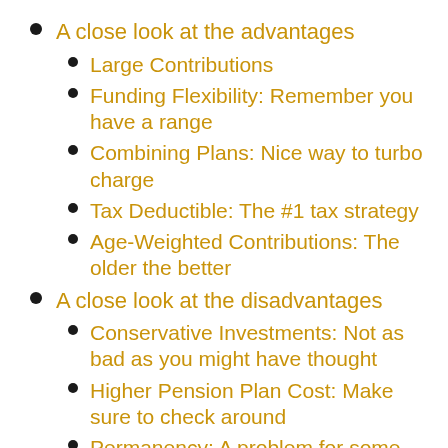A close look at the advantages
Large Contributions
Funding Flexibility: Remember you have a range
Combining Plans: Nice way to turbo charge
Tax Deductible: The #1 tax strategy
Age-Weighted Contributions: The older the better
A close look at the disadvantages
Conservative Investments: Not as bad as you might have thought
Higher Pension Plan Cost: Make sure to check around
Permanency: A problem for some